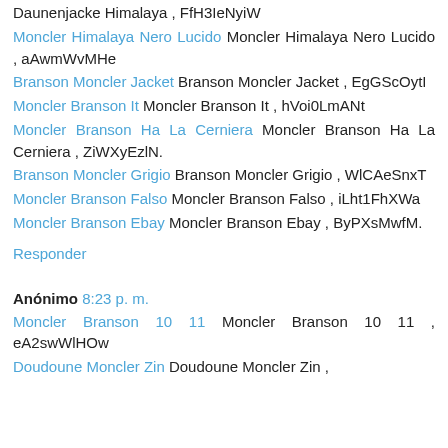Daunenjacke Himalaya , FfH3IeNyiW
Moncler Himalaya Nero Lucido Moncler Himalaya Nero Lucido , aAwmWvMHe
Branson Moncler Jacket Branson Moncler Jacket , EgGScOytI
Moncler Branson It Moncler Branson It , hVoi0LmANt
Moncler Branson Ha La Cerniera Moncler Branson Ha La Cerniera , ZiWXyEzlN.
Branson Moncler Grigio Branson Moncler Grigio , WlCAeSnxT
Moncler Branson Falso Moncler Branson Falso , iLht1FhXWa
Moncler Branson Ebay Moncler Branson Ebay , ByPXsMwfM.
Responder
Anónimo 8:23 p. m.
Moncler Branson 10 11 Moncler Branson 10 11 , eA2swWlHOw
Doudoune Moncler Zin Doudoune Moncler Zin ,